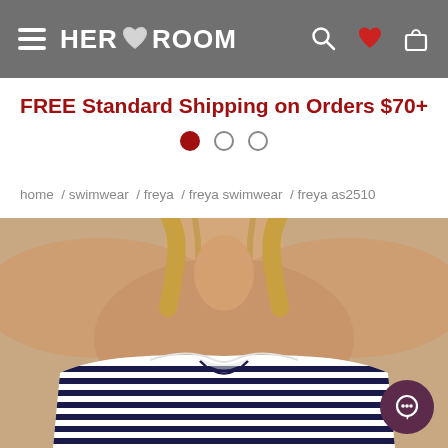HER ROOM - navigation bar with hamburger menu, logo, search, wishlist heart, and bag icons
FREE Standard Shipping on Orders $70+
[Figure (other): Three carousel indicator dots: one filled dark red, two empty circles]
home / swimwear / freya / freya swimwear / freya as2510
[Figure (photo): Close-up product photo of a woman wearing a navy blue and white striped strapless bandeau swimsuit top, showing from shoulder down to chest area]